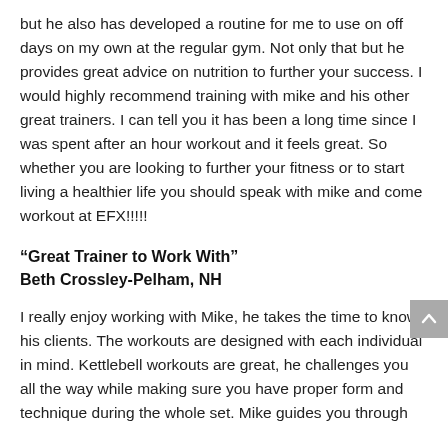but he also has developed a routine for me to use on off days on my own at the regular gym. Not only that but he provides great advice on nutrition to further your success. I would highly recommend training with mike and his other great trainers. I can tell you it has been a long time since I was spent after an hour workout and it feels great. So whether you are looking to further your fitness or to start living a healthier life you should speak with mike and come workout at EFX!!!!!
“Great Trainer to Work With” Beth Crossley-Pelham, NH
I really enjoy working with Mike, he takes the time to know his clients. The workouts are designed with each individual in mind. Kettlebell workouts are great, he challenges you all the way while making sure you have proper form and technique during the whole set. Mike guides you through